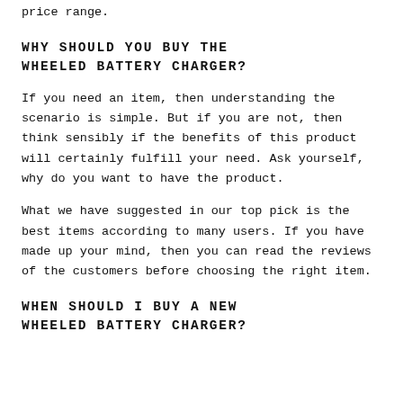price range.
WHY SHOULD YOU BUY THE WHEELED BATTERY CHARGER?
If you need an item, then understanding the scenario is simple. But if you are not, then think sensibly if the benefits of this product will certainly fulfill your need. Ask yourself, why do you want to have the product.
What we have suggested in our top pick is the best items according to many users. If you have made up your mind, then you can read the reviews of the customers before choosing the right item.
WHEN SHOULD I BUY A NEW WHEELED BATTERY CHARGER?